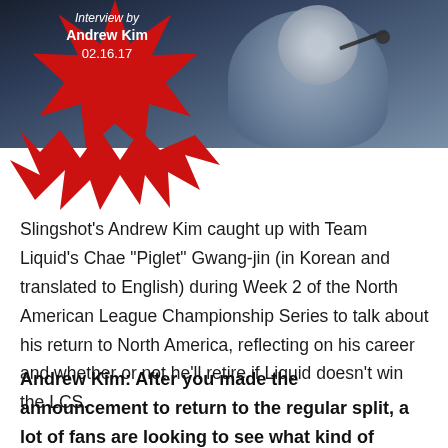[Figure (photo): Photo of a person wearing a headset/microphone, esports player, dark background]
Interview by Andrew Kim 02.16.17
Slingshot’s Andrew Kim caught up with Team Liquid’s Chae “Piglet” Gwang-jin (in Korean and translated to English) during Week 2 of the North American League Championship Series to talk about his return to North America, reflecting on his career and whether or not he’ll retire if Liquid doesn’t win the LCS.
Andrew Kim: After you made the announcement to return to the regular split, a lot of fans are looking to see what kind of performance you will have with your return.